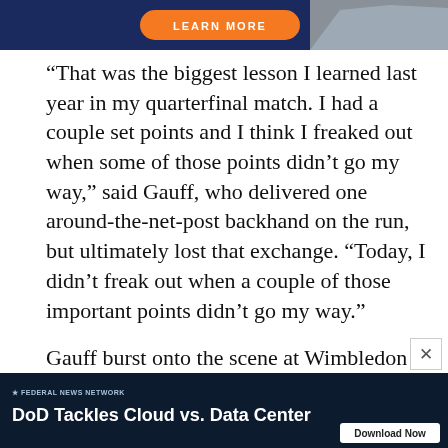[Figure (screenshot): Advertisement banner with orange 'LEARN MORE' button on dark blue background with house image]
“That was the biggest lesson I learned last year in my quarterfinal match. I had a couple set points and I think I freaked out when some of those points didn’t go my way,” said Gauff, who delivered one around-the-net-post backhand on the run, but ultimately lost that exchange. “Today, I didn’t freak out when a couple of those important points didn’t go my way.”

Gauff burst onto the scene at Wimbledon in 2019 when she was 15 by becoming the youngest — there is that word again — qualifier to
[Figure (screenshot): Advertisement: DoD Tackles Cloud vs. Data Center — Federal News Network, Download Now button]